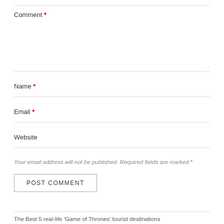Comment *
Name *
Email *
Website
Your email address will not be published. Required fields are marked *
POST COMMENT
The Best 5 real-life 'Game of Thrones' tourist destinations